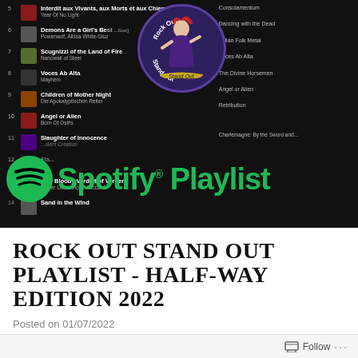[Figure (screenshot): Screenshot of a Spotify playlist interface showing tracks numbered 5–14 with song titles and artists on dark background, overlaid with a 'Rock Out Stand Out' logo (circular badge with illustrated woman) and a green Spotify Playlist text banner]
ROCK OUT STAND OUT PLAYLIST - HALF-WAY EDITION 2022
Posted on 01/07/2022
A note from Lotty: Hello all, hope you are doing OK. My mental health really slipped in the last couple